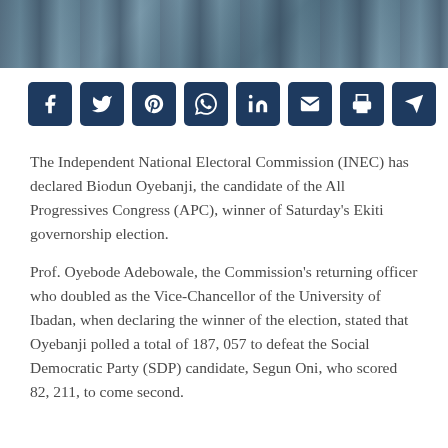[Figure (photo): Crowd of people, news article header photo banner]
[Figure (infographic): Social media sharing buttons row: Facebook, Twitter, Pinterest, WhatsApp, LinkedIn, Email, Print, Telegram]
The Independent National Electoral Commission (INEC) has declared Biodun Oyebanji, the candidate of the All Progressives Congress (APC), winner of Saturday's Ekiti governorship election.
Prof. Oyebode Adebowale, the Commission's returning officer who doubled as the Vice-Chancellor of the University of Ibadan, when declaring the winner of the election, stated that Oyebanji polled a total of 187, 057 to defeat the Social Democratic Party (SDP) candidate, Segun Oni, who scored 82, 211, to come second.